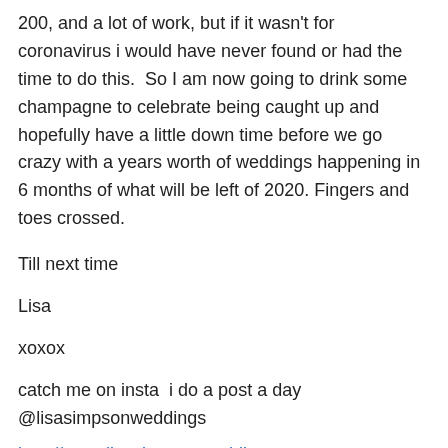200, and a lot of work, but if it wasn't for coronavirus i would have never found or had the time to do this.  So I am now going to drink some champagne to celebrate being caught up and hopefully have a little down time before we go crazy with a years worth of weddings happening in 6 months of what will be left of 2020. Fingers and toes crossed.
Till next time
Lisa
xoxox
catch me on insta  i do a post a day
@lisasimpsonweddings
http://www.lisasimpsonweddings.com